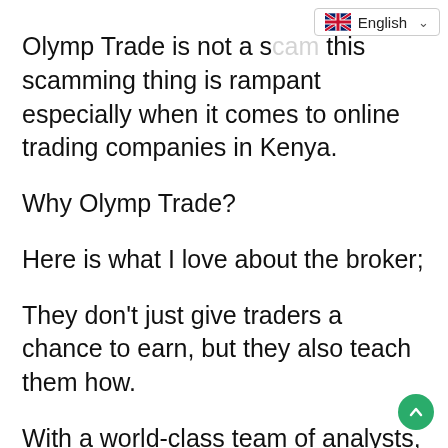[Figure (other): Language selector dropdown showing UK flag and 'English' text with chevron]
Olymp Trade is not a s[cam —] this scamming thing is rampant especially when it comes to online trading companies in Kenya.
Why Olymp Trade?
Here is what I love about the broker;
They don't just give traders a chance to earn, but they also teach them how.
With a world-class team of analysts, you are sure to be on the best hands when it comes to online trading in